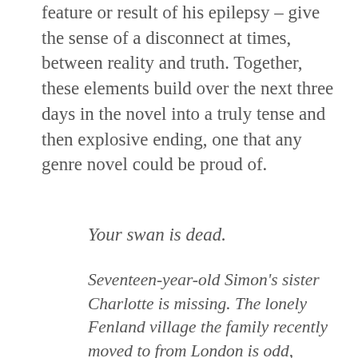feature or result of his epilepsy – give the sense of a disconnect at times, between reality and truth. Together, these elements build over the next three days in the novel into a truly tense and then explosive ending, one that any genre novel could be proud of.
Your swan is dead.
Seventeen-year-old Simon's sister Charlotte is missing. The lonely Fenland village the family recently moved to from London is odd, silent, and mysterious. Simon is epileptic and his seizures are increasing in severity, but when he is told of the local curse of the Naseby Horses, he is convinced it has